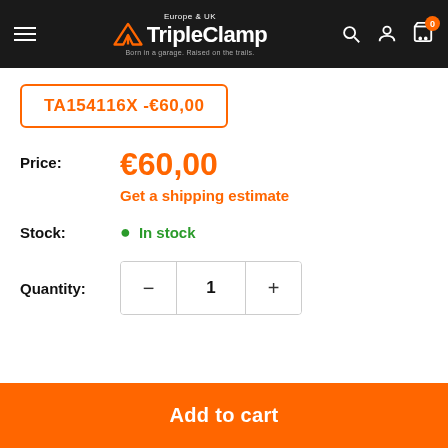TripleClamp Europe & UK — navigation bar with search, account, cart (0)
TA154116X -€60,00
Price: €60,00
Get a shipping estimate
Stock: In stock
Quantity: 1
Add to cart